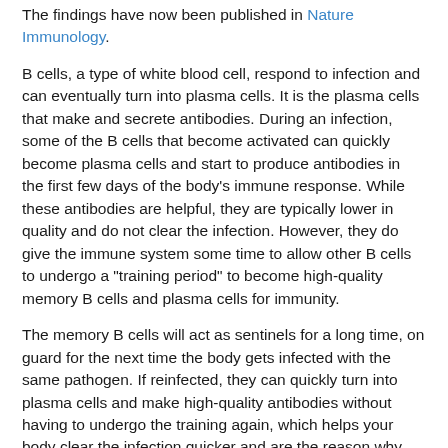The findings have now been published in Nature Immunology.
B cells, a type of white blood cell, respond to infection and can eventually turn into plasma cells. It is the plasma cells that make and secrete antibodies. During an infection, some of the B cells that become activated can quickly become plasma cells and start to produce antibodies in the first few days of the body's immune response. While these antibodies are helpful, they are typically lower in quality and do not clear the infection. However, they do give the immune system some time to allow other B cells to undergo a "training period" to become high-quality memory B cells and plasma cells for immunity.
The memory B cells will act as sentinels for a long time, on guard for the next time the body gets infected with the same pathogen. If reinfected, they can quickly turn into plasma cells and make high-quality antibodies without having to undergo the training again, which helps your body clear the infection quicker and are the reason why vaccines work.